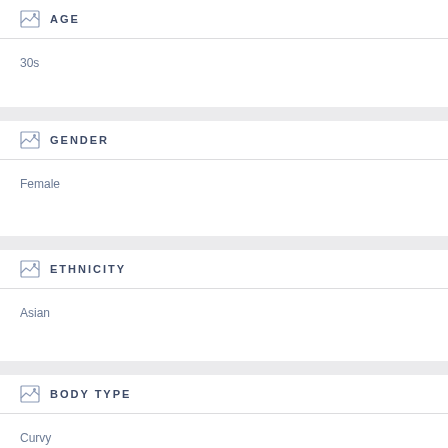AGE
30s
GENDER
Female
ETHNICITY
Asian
BODY TYPE
Curvy